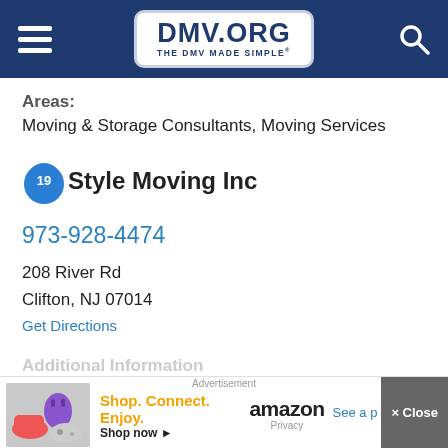[Figure (logo): DMV.ORG website header with hamburger menu, DMV.ORG logo (The DMV Made Simple), and search icon on dark navy background]
Areas:
Moving & Storage Consultants, Moving Services
Style Moving Inc
973-928-4474
208 River Rd
Clifton, NJ 07014
Get Directions
Additional Information
[Figure (screenshot): Amazon advertisement: Shop. Connect. Enjoy. Shop now with Amazon branding and product image thumbnail]